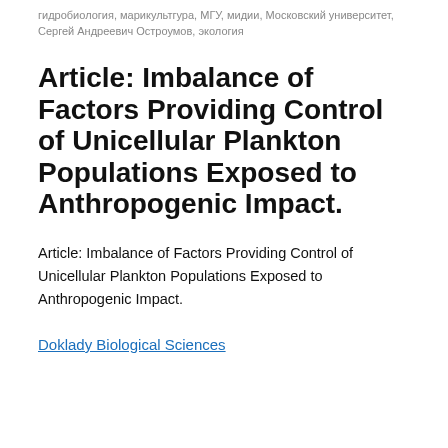гидробиология, марикультгура, МГУ, мидии, Московский университет, Сергей Андреевич Остроумов, экология
Article: Imbalance of Factors Providing Control of Unicellular Plankton Populations Exposed to Anthropogenic Impact.
Article: Imbalance of Factors Providing Control of Unicellular Plankton Populations Exposed to Anthropogenic Impact.
Doklady Biological Sciences